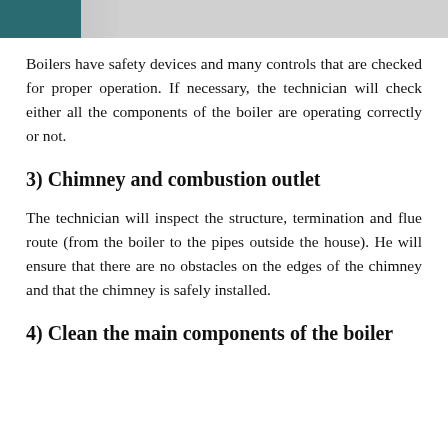[Figure (photo): Partial view of a boiler or appliance, with a teal/dark background on the left and a circular white component visible on the right, cropped at the top of the page.]
Boilers have safety devices and many controls that are checked for proper operation. If necessary, the technician will check either all the components of the boiler are operating correctly or not.
3) Chimney and combustion outlet
The technician will inspect the structure, termination and flue route (from the boiler to the pipes outside the house). He will ensure that there are no obstacles on the edges of the chimney and that the chimney is safely installed.
4) Clean the main components of the boiler